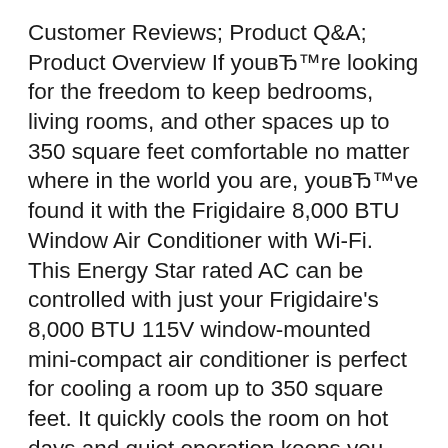Customer Reviews; Product Q&A; Product Overview If youвЂ™re looking for the freedom to keep bedrooms, living rooms, and other spaces up to 350 square feet comfortable no matter where in the world you are, youвЂ™ve found it with the Frigidaire 8,000 BTU Window Air Conditioner with Wi-Fi. This Energy Star rated AC can be controlled with just your Frigidaire's 8,000 BTU 115V window-mounted mini-compact air conditioner is perfect for cooling a room up to 350 square feet. It quickly cools the room on hot days and quiet operation keeps you cool without keeping you awake.
More reasons to buy the Frigidaire